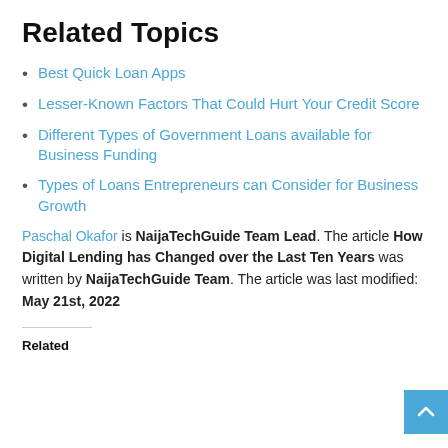Related Topics
Best Quick Loan Apps
Lesser-Known Factors That Could Hurt Your Credit Score
Different Types of Government Loans available for Business Funding
Types of Loans Entrepreneurs can Consider for Business Growth
Paschal Okafor is NaijaTechGuide Team Lead. The article How Digital Lending has Changed over the Last Ten Years was written by NaijaTechGuide Team. The article was last modified: May 21st, 2022
Related